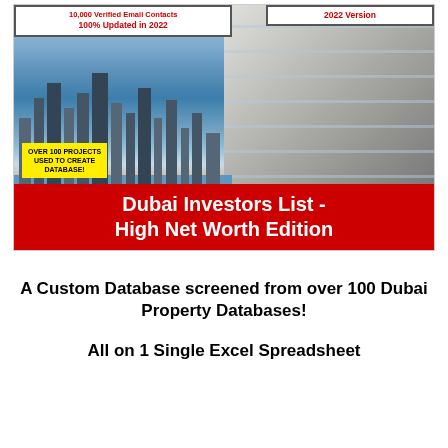[Figure (photo): Cover image of Dubai Investors List – High Net Worth Edition product. Shows Dubai skyline with skyscrapers and waterfront on the left half, and a modern luxury building/apartment on the right half. Top-left white banner reads '10,000 Verified Email Contacts / 100% Updated in 2022'. Top-right white banner reads '2022 Version'. Yellow badge reads 'OVER 100 PROJECTS USED TO CREATE DATABASE!'. Red bar at the bottom of the image reads 'Dubai Investors List - High Net Worth Edition'.]
A Custom Database screened from over 100 Dubai Property Databases!
All on 1 Single Excel Spreadsheet